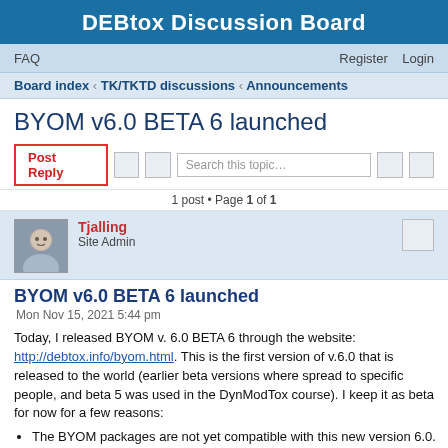DEBtox Discussion Board
FAQ    Register   Login
Board index ‹ TK/TKTD discussions ‹ Announcements
BYOM v6.0 BETA 6 launched
Post Reply   [search box: Search this topic...]   1 post • Page 1 of 1
Tjalling
Site Admin
BYOM v6.0 BETA 6 launched
Mon Nov 15, 2021 5:44 pm
Today, I released BYOM v. 6.0 BETA 6 through the website: http://debtox.info/byom.html. This is the first version of v.6.0 that is released to the world (earlier beta versions where spread to specific people, and beta 5 was used in the DynModTox course). I keep it as beta for now for a few reasons:
The BYOM packages are not yet compatible with this new version 6.0. Modification is not too problematic, but I need to check the packages. After that, there are other BYOM v6.0 will...